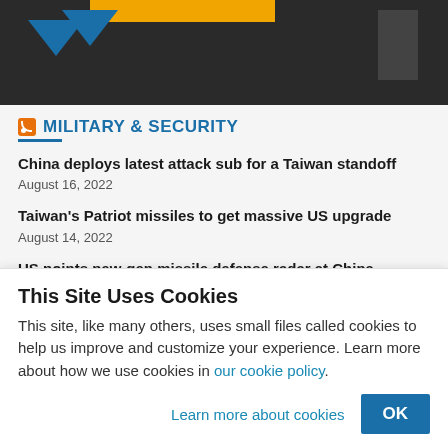[Figure (photo): Dark background with blue downward-pointing arrows and an orange horizontal bar, resembling a website header image.]
MILITARY & SECURITY
China deploys latest attack sub for a Taiwan standoff
August 16, 2022
Taiwan's Patriot missiles to get massive US upgrade
August 14, 2022
US points new-gen missile defense radar at China,
This Site Uses Cookies
This site, like many others, uses small files called cookies to help us improve and customize your experience. Learn more about how we use cookies in our cookie policy.
Learn more about cookies
OK